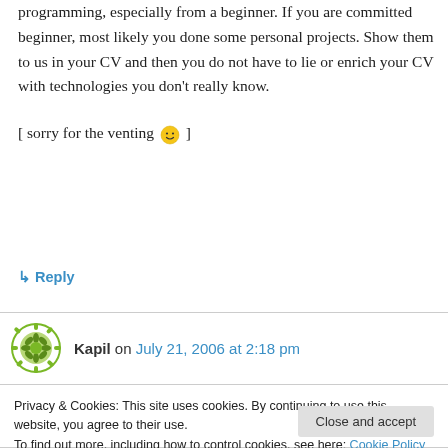programming, especially from a beginner. If you are committed beginner, most likely you done some personal projects. Show them to us in your CV and then you do not have to lie or enrich your CV with technologies you don't really know.
[ sorry for the venting 🙂 ]
↳ Reply
Kapil on July 21, 2006 at 2:18 pm
Privacy & Cookies: This site uses cookies. By continuing to use this website, you agree to their use.
To find out more, including how to control cookies, see here: Cookie Policy
projects written in c# for same reasons(follow